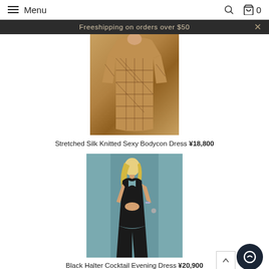Menu  🔍  🛒 0
Freeshipping on orders over $50
[Figure (photo): Brown/tan knit bodycon dress with geometric pattern, long sleeves, worn by a model]
Stretched Silk Knitted Sexy Bodycon Dress ¥18,800
[Figure (photo): Black halter cocktail evening dress with slit, worn by a blonde model against a teal door background]
Black Halter Cocktail Evening Dress ¥20,900